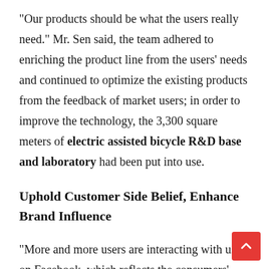“Our products should be what the users really need.” Mr. Sen said, the team adhered to enriching the product line from the users’ needs and continued to optimize the existing products from the feedback of market users; in order to improve the technology, the 3,300 square meters of electric assisted bicycle R&D base and laboratory had been put into use.
Uphold Customer Side Belief, Enhance Brand Influence
“More and more users are interacting with us on Facebook, which reflects the consumers’ trust and